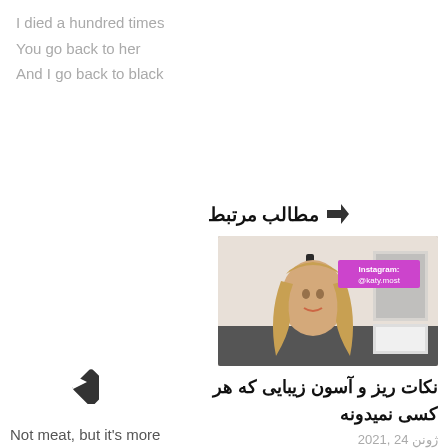I died a hundred times
You go back to her
And I go back to black
🤜مطالب مرتبط
[Figure (photo): Thumbnail photo of a woman with long blonde hair sitting at a desk, with Instagram watermark @katy.most in pink]
نکات ریز و آسون زیبایی که هر کسی نمیدونه
ژونن 24 ,2021
[Figure (other): Diamond-shaped play button icon]
Not meat, but it's more